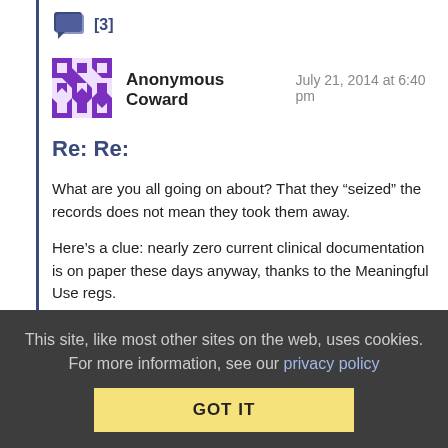[Figure (other): Comment thread icon with count [3]]
Anonymous Coward    July 21, 2014 at 6:40 pm
Re: Re:
What are you all going on about? That they “seized” the records does not mean they took them away.
Here’s a clue: nearly zero current clinical documentation is on paper these days anyway, thanks to the Meaningful Use regs.
Chances are: they showed up with the warrant, the general counsel came down to verify it and offer guidance (yes, that much delay is accepted, absent exigent circumstances) and some clerk burned a CD and said “here you go.”
This site, like most other sites on the web, uses cookies. For more information, see our privacy policy  GOT IT